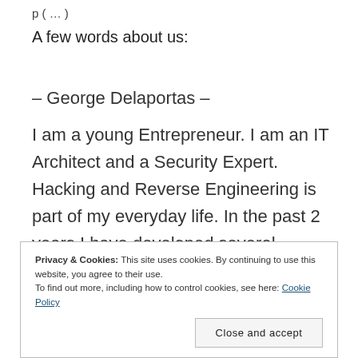p (…)
A few words about us:
– George Delaportas –
I am a young Entrepreneur. I am an IT Architect and a Security Expert. Hacking and Reverse Engineering is part of my everyday life. In the past 2 years I have developed several technologies and innovations for different
Privacy & Cookies: This site uses cookies. By continuing to use this website, you agree to their use.
To find out more, including how to control cookies, see here: Cookie Policy
Close and accept
the web into a highly personalized and